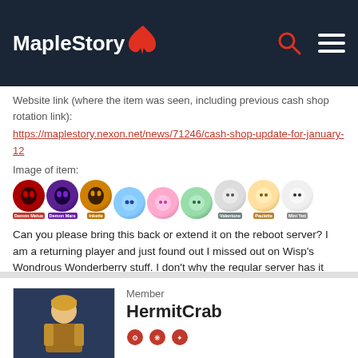MapleStory
Website link (where the item was seen, including previous cash shop rotation link):
https://maplestory.nexon.net/news/71246/cash-shop-update-for-january-12
Image of item:
[Figure (illustration): Row of game item icons: Demon Metus, Demon Mars, Inkette, unnamed blue, unnamed pink, unnamed green, Valentune, Paulette, Mini Yeti]
Can you please bring this back or extend it on the reboot server? I am a returning player and just found out I missed out on Wisp's Wondrous Wonderberry stuff. I don't why the regular server has it until Feb 9 but can you please extend it for the reboot server until Feb 9 as well?
Member
HermitCrab